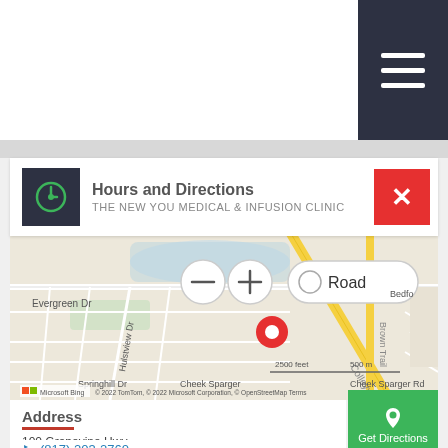[Figure (screenshot): Top navigation bar with white background and dark navy hamburger menu button on the right side with three white horizontal lines]
Hours and Directions
THE NEW YOU MEDICAL & INFUSION CLINIC
[Figure (map): Bing map showing street map of Hurst/Colleyville TX area with a red location pin on Colleyville Rd near Grapevine Hwy. Map controls include zoom in/out and Road view toggle. Scale shows 2500 feet / 500 m. © 2022 TomTom, © 2022 Microsoft Corporation, © OpenStreetMap Terms]
Address
100 Grapevine Hwy
Hurst, TX 76054
(817) 203-2760
Get Directions